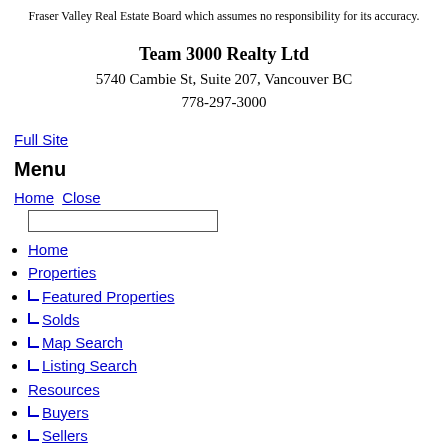Fraser Valley Real Estate Board which assumes no responsibility for its accuracy.
Team 3000 Realty Ltd
5740 Cambie St, Suite 207, Vancouver BC
778-297-3000
Full Site
Menu
Home Close
Home
Properties
└ Featured Properties
└ Solds
└ Map Search
└ Listing Search
Resources
└ Buyers
└ Sellers